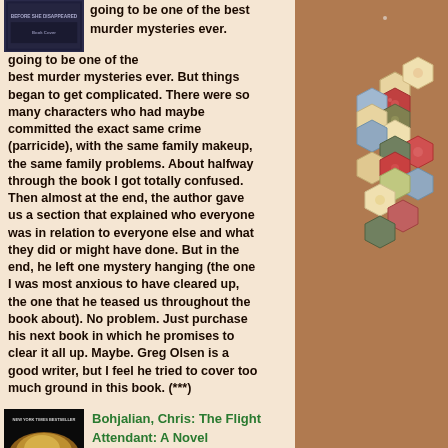[Figure (photo): Small book cover image at top left, dark blue/navy background with text]
going to be one of the best murder mysteries ever. But things began to get complicated. There were so many characters who had maybe committed the exact same crime (parricide), with the same family makeup, the same family problems. About halfway through the book I got totally confused. Then almost at the end, the author gave us a section that explained who everyone was in relation to everyone else and what they did or might have done. But in the end, he left one mystery hanging (the one I was most anxious to have cleared up, the one that he teased us throughout the book about). No problem. Just purchase his next book in which he promises to clear it all up. Maybe. Greg Olsen is a good writer, but I feel he tried to cover too much ground in this book. (***)
[Figure (photo): Book cover for The Flight Attendant by Chris Bohjalian, dark background with swirling hair/light]
Bohjalian, Chris: The Flight Attendant: A Novel
[Figure (photo): Right column: tan/brown background with colorful fabric quilt pieces arranged in a decorative pattern, featuring floral and geometric hexagon shapes]